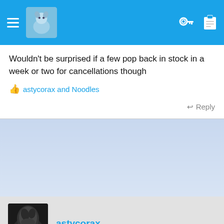Navigation header with avatar and icons
Wouldn't be surprised if a few pop back in stock in a week or two for cancellations though
👍 astycorax and Noodles
↩ Reply
[Figure (other): Advertisement banner area with light blue-grey background]
astycorax
Sep 18, 2021
BDDB said: